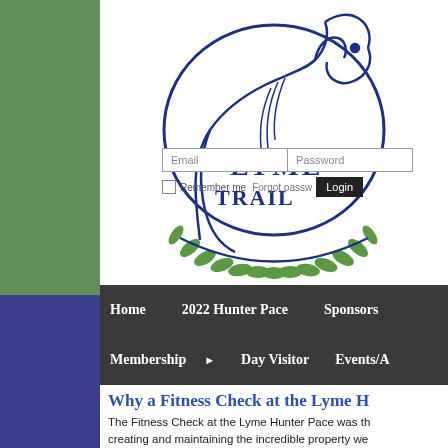[Figure (logo): Lyme Trail Farm logo: blue horse head with circular swoosh and green laurel wreath, with text LYME TRAIL (partially visible)]
[Figure (screenshot): Login form overlay with Email and Password fields, Remember me checkbox, Forgot password link, and Login button]
Home    2022 Hunter Pace    Sponsors
Membership ► Day Visitor    Events/A
Why a Fitness Check at the Lyme H
The Fitness Check at the Lyme Hunter Pace was th creating and maintaining the incredible property we life, believed that a conditioned horse is a healthy ho Farm are perfect for conditioning horses. A natural e